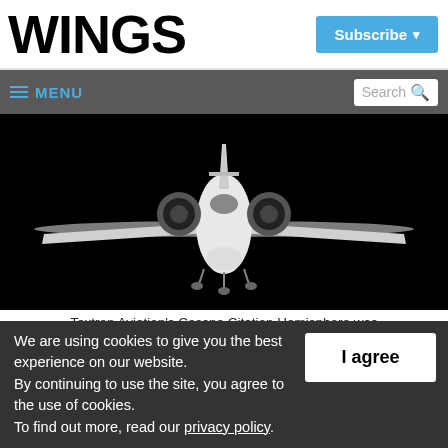WINGS
Subscribe
≡ MENU   Search
[Figure (photo): Front-facing view of a white business jet (Cessna Citation Hemisphere) on a dark background, showing engines, wings, and landing gear.]
Textron Aviation's Cessna Citation Hemisphere was
We are using cookies to give you the best experience on our website.
By continuing to use the site, you agree to the use of cookies.
To find out more, read our privacy policy.